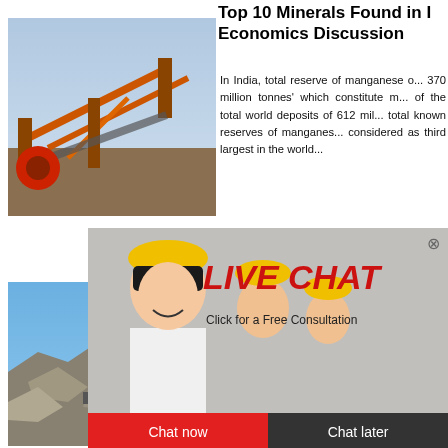Top 10 Minerals Found in India Economics Discussion
[Figure (photo): Industrial mining facility with conveyor belts and orange metal structures, aerial view]
In India, total reserve of manganese o... 370 million tonnes' which constitute m... of the total world deposits of 612 mi... total known reserves of manganes... considered as third largest in the world...
[Figure (photo): Live Chat popup with workers in yellow hard hats, 'LIVE CHAT' in red italic text, 'Click for a Free Consultation', Chat now and Chat later buttons]
[Figure (photo): Enligne widget banner with headset customer service representative, VOUS AVEZ DES text, Cliquez ici button, Enquiry section, grinding111leo@gmail.com]
[Figure (photo): Mining quarry with excavator and crushed rocks]
A web page o... on ... in mineral pr... la... iron ore, stee...